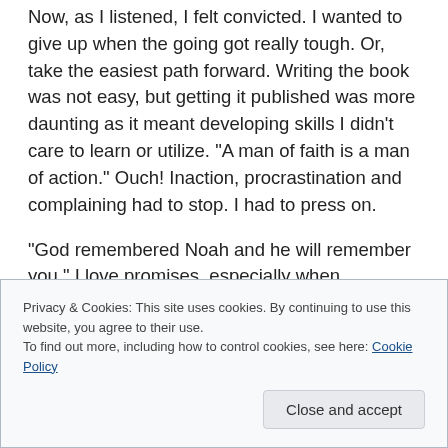Now, as I listened, I felt convicted. I wanted to give up when the going got really tough. Or, take the easiest path forward. Writing the book was not easy, but getting it published was more daunting as it meant developing skills I didn't care to learn or utilize. “A man of faith is a man of action.” Ouch! Inaction, procrastination and complaining had to stop. I had to press on.
“God remembered Noah and he will remember you.” I love promises, especially when combined with the conviction that God is ever-present and guiding me. He will remember to provide what I need and he will
Privacy & Cookies: This site uses cookies. By continuing to use this website, you agree to their use.
To find out more, including how to control cookies, see here: Cookie Policy
Close and accept